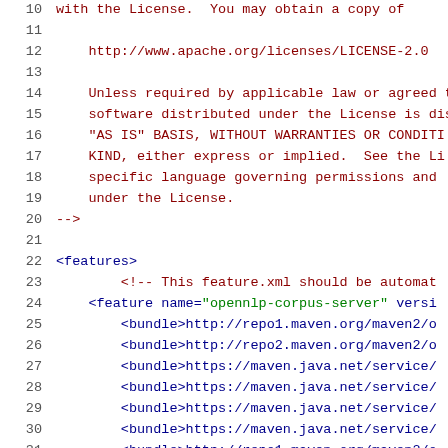Code listing showing XML/feature file with Apache license comment and features XML markup, lines 10-31
10: with the License.  You may obtain a copy of
11: (empty)
12:     http://www.apache.org/licenses/LICENSE-2.0
13: (empty)
14:     Unless required by applicable law or agreed t
15:     software distributed under the License is dis
16:     "AS IS" BASIS, WITHOUT WARRANTIES OR CONDITI
17:     KIND, either express or implied.  See the Li
18:     specific language governing permissions and
19:     under the License.
20: -->
21: (empty)
22: <features>
23:         <!-- This feature.xml should be automat
24:     <feature name="opennlp-corpus-server" versi
25:         <bundle>http://repo1.maven.org/maven2/o
26:         <bundle>http://repo2.maven.org/maven2/o
27:         <bundle>https://maven.java.net/service/
28:         <bundle>https://maven.java.net/service/
29:         <bundle>https://maven.java.net/service/
30:         <bundle>https://maven.java.net/service/
31:         <bundle>http://repo1.maven.org/maven2/o